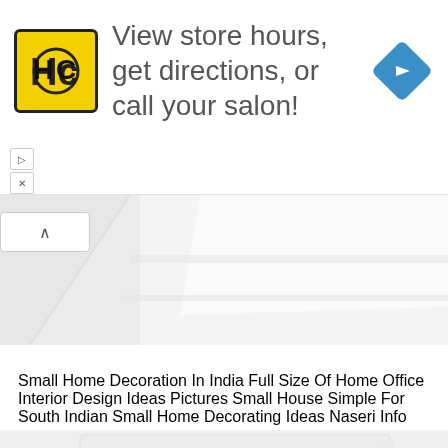[Figure (screenshot): Advertisement banner for a salon with HC logo (yellow square with HC text), text 'View store hours, get directions, or call your salon!', blue navigation diamond icon on right, and close/skip controls on left]
[Figure (photo): Partial view of white furniture/shelving unit angled photograph, light gray and white tones]
Small Home Decoration In India Full Size Of Home Office Interior Design Ideas Pictures Small House Simple For South Indian Small Home Decorating Ideas Naseri Info
[Figure (photo): White chest of drawers with multiple drawers featuring small circular ring pulls, photographed from slightly above, light gray and white tones]